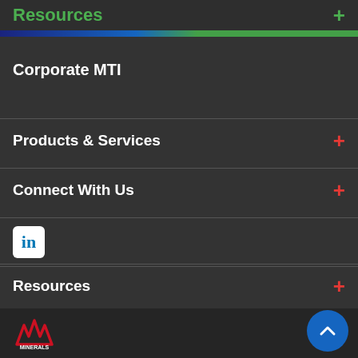Resources +
Corporate MTI
Products & Services +
Connect With Us +
[Figure (logo): LinkedIn logo icon]
Resources +
About MTI +
[Figure (logo): Minerals Technologies MTI logo in footer]